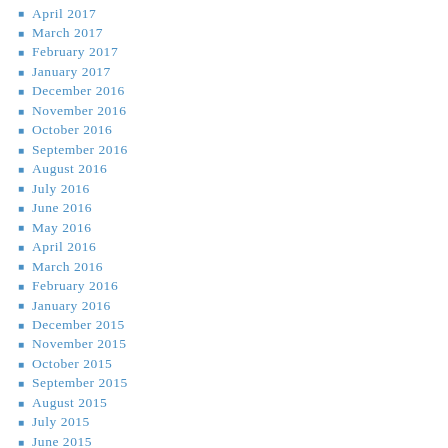April 2017
March 2017
February 2017
January 2017
December 2016
November 2016
October 2016
September 2016
August 2016
July 2016
June 2016
May 2016
April 2016
March 2016
February 2016
January 2016
December 2015
November 2015
October 2015
September 2015
August 2015
July 2015
June 2015
May 2015
April 2015